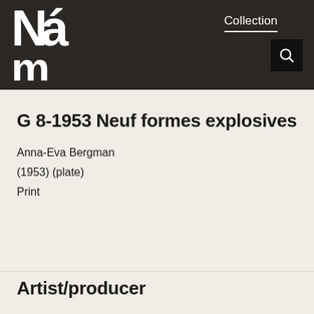Collection
G 8-1953 Neuf formes explosives
Anna-Eva Bergman
(1953) (plate)
Print
Artist/producer